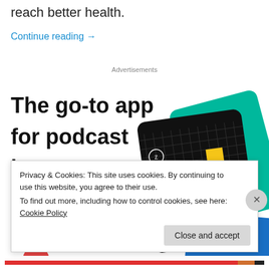reach better health.
Continue reading →
Advertisements
[Figure (infographic): Advertisement for a podcast app showing the headline 'The go-to app for podcast lovers.' with a red 'Download now' call-to-action button and an illustration of podcast app cards including a 99% Invisible card, a green wbur card, and a blue card.]
Privacy & Cookies: This site uses cookies. By continuing to use this website, you agree to their use.
To find out more, including how to control cookies, see here: Cookie Policy
Close and accept